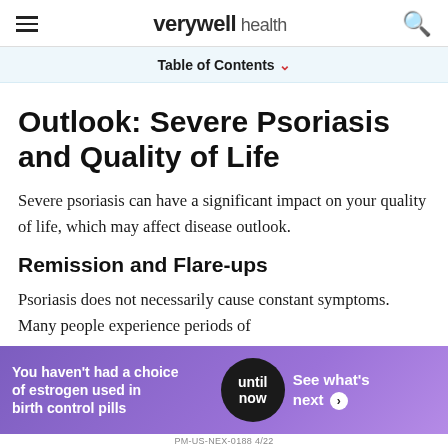verywell health
Table of Contents
Outlook: Severe Psoriasis and Quality of Life
Severe psoriasis can have a significant impact on your quality of life, which may affect disease outlook.
Remission and Flare-ups
Psoriasis does not necessarily cause constant symptoms. Many people experience periods of
[Figure (other): Advertisement banner: 'You haven't had a choice of estrogen used in birth control pills' with 'until now' pill graphic and 'See what's next' call to action. PM-US-NEX-0188 4/22]